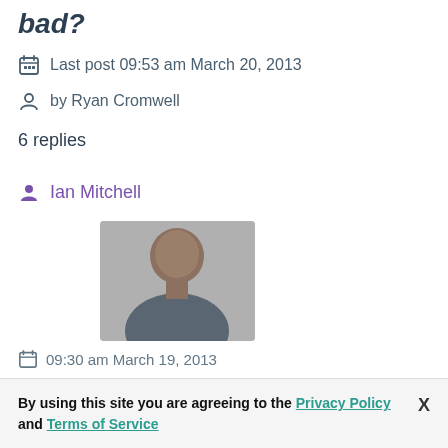bad?
Last post 09:53 am March 20, 2013
by Ryan Cromwell
6 replies
Ian Mitchell
[Figure (photo): Profile photo of Ian Mitchell, a man in a dark shirt]
09:30 am March 19, 2013
By using this site you are agreeing to the Privacy Policy and Terms of Service